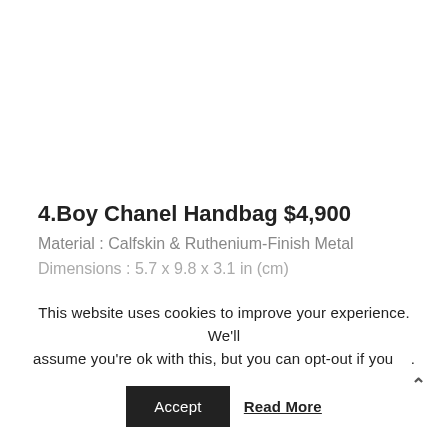[Figure (photo): White/blank image area showing a product photo (not visible in this crop)]
4.Boy Chanel Handbag $4,900
Material : Calfskin & Ruthenium-Finish Metal
Dimensions : 5.7 x 9.8 x 3.1 in (cm)
This website uses cookies to improve your experience. We'll assume you're ok with this, but you can opt-out if you    .
Accept   Read More